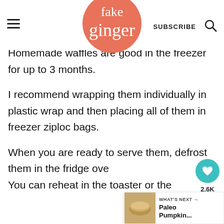fake ginger — SUBSCRIBE
Homemade waffles are good in the freezer for up to 3 months.
I recommend wrapping them individually in plastic wrap and then placing all of them in freezer ziploc bags.
When you are ready to serve them, defrost them in the fridge ove[r...] You can reheat in the toaster or the